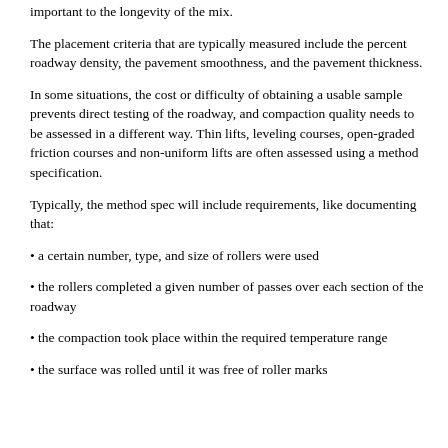important to the longevity of the mix.
The placement criteria that are typically measured include the percent roadway density, the pavement smoothness, and the pavement thickness.
In some situations, the cost or difficulty of obtaining a usable sample prevents direct testing of the roadway, and compaction quality needs to be assessed in a different way. Thin lifts, leveling courses, open-graded friction courses and non-uniform lifts are often assessed using a method specification.
Typically, the method spec will include requirements, like documenting that:
• a certain number, type, and size of rollers were used
• the rollers completed a given number of passes over each section of the roadway
• the compaction took place within the required temperature range
• the surface was rolled until it was free of roller marks